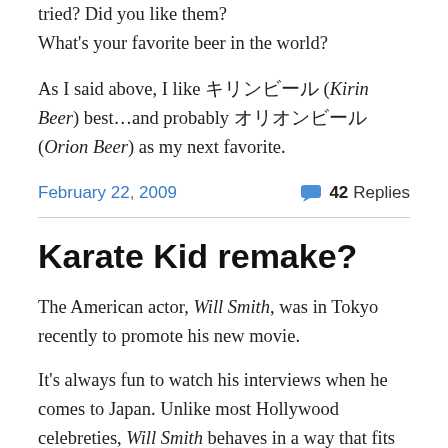Have you ever tried Japanese beer? Which ones have you tried? Did you like them?
What's your favorite beer in the world?
As I said above, I like キリンビール (Kirin Beer) best…and probably オリオンビール (Orion Beer) as my next favorite.
February 22, 2009   💬 42 Replies
Karate Kid remake?
The American actor, Will Smith, was in Tokyo recently to promote his new movie.
It's always fun to watch his interviews when he comes to Japan. Unlike most Hollywood celebreties, Will Smith behaves in a way that fits in here. Not to say that other